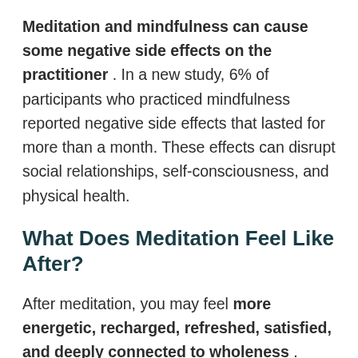Meditation and mindfulness can cause some negative side effects on the practitioner. In a new study, 6% of participants who practiced mindfulness reported negative side effects that lasted for more than a month. These effects can disrupt social relationships, self-consciousness, and physical health.
What Does Meditation Feel Like After?
After meditation, you may feel more energetic, recharged, refreshed, satisfied, and deeply connected to wholeness. Strengthen concentration, attention and decision making.